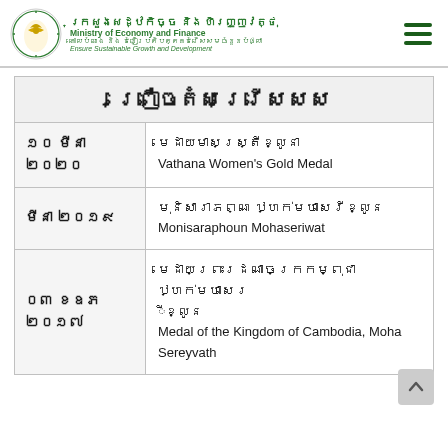Ministry of Economy and Finance — Ensure Sustainable Growth and Development
ព្រឿចតំសរ្រើសសស
| Date | Award |
| --- | --- |
| ១០ មីនា ២០២០ | មេដាយមាសស្ត្រីខ្លូនា
Vathana Women's Gold Medal |
| មីនា ២០១៩ | មុនិសាភភិណ ឋ្ហក់មហាសេរីខ្លូន
Monisaraphoun Mohaseriwat |
| ០៣ ខឧភ ២០១៧ | មេដាយព្រះរដណាចក្រកម្ពុជា ឋ្ហក់មហាសេរ
ខ្លូន
Medal of the Kingdom of Cambodia, Moha Sereyvath |